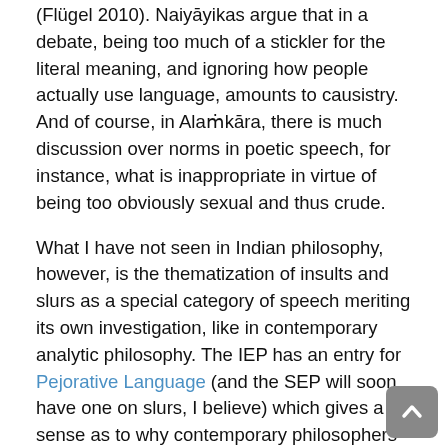(Flügel 2010). Naiyāyikas argue that in a debate, being too much of a stickler for the literal meaning, and ignoring how people actually use language, amounts to causistry. And of course, in Alaṁkāra, there is much discussion over norms in poetic speech, for instance, what is inappropriate in virtue of being too obviously sexual and thus crude.
What I have not seen in Indian philosophy, however, is the thematization of insults and slurs as a special category of speech meriting its own investigation, like in contemporary analytic philosophy. The IEP has an entry for Pejorative Language (and the SEP will soon have one on slurs, I believe) which gives a sense as to why contemporary philosophers take pejoratives to merit special treatment as a linguistic phenomenon.
Whenever such differences appear in initial reading, though, I want to first reflect on whether the apparent